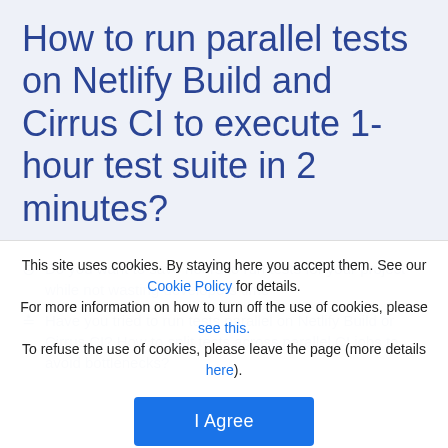How to run parallel tests on Netlify Build and Cirrus CI to execute 1-hour test suite in 2 minutes?
This site uses cookies. By staying here you accept them. See our Cookie Policy for details. For more information on how to turn off the use of cookies, please see this. To refuse the use of cookies, please leave the page (more details here).
I Agree